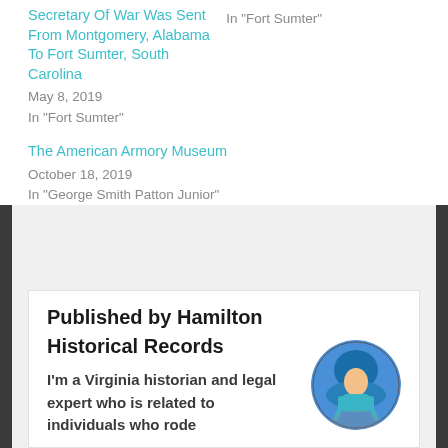Secretary Of War Was Sent From Montgomery, Alabama To Fort Sumter, South Carolina
May 8, 2019
In "Fort Sumter"
In "Fort Sumter"
The American Armory Museum
October 18, 2019
In "George Smith Patton Junior"
Published by Hamilton Historical Records
I'm a Virginia historian and legal expert who is related to individuals who rode